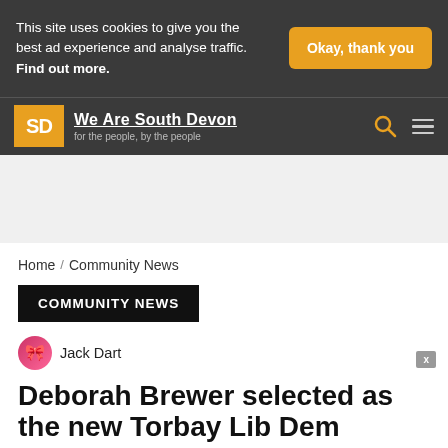This site uses cookies to give you the best ad experience and analyse traffic. Find out more.
Okay, thank you
We Are South Devon — for the people, by the people
[Figure (other): Advertisement / banner placeholder area (gray background)]
Home / Community News
COMMUNITY NEWS
Jack Dart
Deborah Brewer selected as the new Torbay Lib Dem...